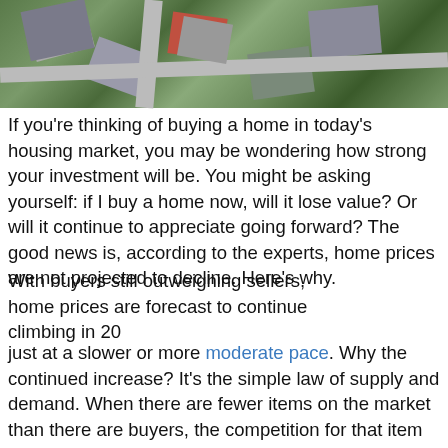[Figure (photo): Aerial view of residential neighborhood with houses and roads]
If you're thinking of buying a home in today's housing market, you may be wondering how strong your investment will be. You might be asking yourself: if I buy a home now, will it lose value? Or will it continue to appreciate going forward? The good news is, according to the experts, home prices are not projected to decline. Here's why.
With buyers still outweighing sellers, home prices are forecast to continue climbing in 2022, just at a slower or more moderate pace. Why the continued increase? It's the simple law of supply and demand. When there are fewer items on the market than there are buyers, the competition for that item makes prices naturally rise.